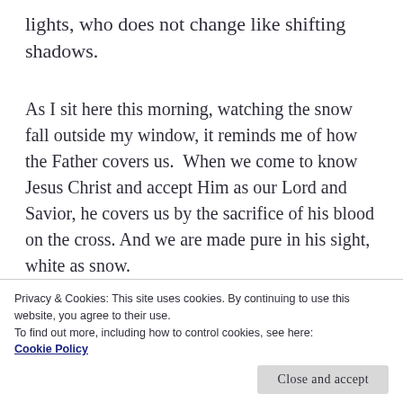lights, who does not change like shifting shadows.
As I sit here this morning, watching the snow fall outside my window, it reminds me of how the Father covers us.  When we come to know Jesus Christ and accept Him as our Lord and Savior, he covers us by the sacrifice of his blood on the cross. And we are made pure in his sight, white as snow.
I've always said I don't like snow and I have to [partially obscured by cookie banner]
Privacy & Cookies: This site uses cookies. By continuing to use this website, you agree to their use.
To find out more, including how to control cookies, see here:
Cookie Policy
Close and accept